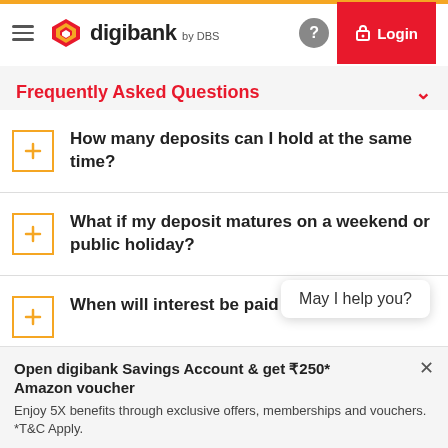digibank by DBS — Login
Frequently Asked Questions
How many deposits can I hold at the same time?
What if my deposit matures on a weekend or public holiday?
When will interest be paid on my deposit?
May I help you?
Open digibank Savings Account & get ₹250* Amazon voucher
Enjoy 5X benefits through exclusive offers, memberships and vouchers. *T&C Apply.